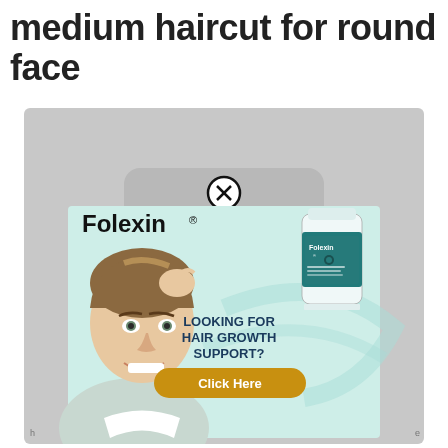medium haircut for round face
[Figure (screenshot): A webpage showing a Folexin hair growth supplement advertisement overlay on a gray background. The ad features a smiling man touching his hair, a Folexin supplement bottle, the brand name 'Folexin®', text 'LOOKING FOR HAIR GROWTH SUPPORT?', and a yellow 'Click Here' button. A close (X) button appears above the ad.]